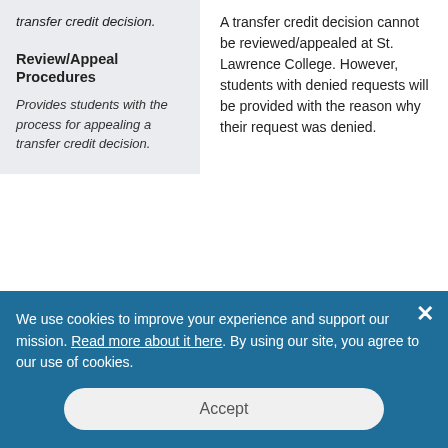transfer credit decision.
Review/Appeal Procedures
Provides students with the process for appealing a transfer credit decision.
A transfer credit decision cannot be reviewed/appealed at St. Lawrence College. However, students with denied requests will be provided with the reason why their request was denied.
We use cookies to improve your experience and support our mission. Read more about it here. By using our site, you agree to our use of cookies.
Accept